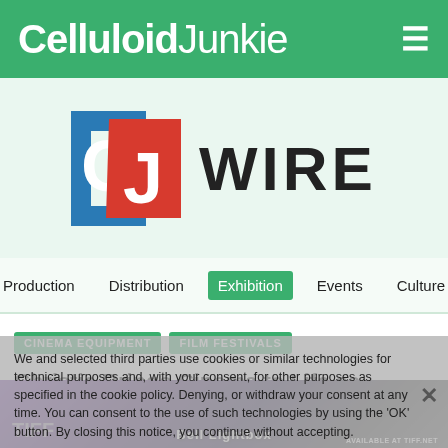Celluloid Junkie
[Figure (logo): CJ Wire logo — blue C and red J tiles with WIRE text]
Production
Distribution
Exhibition
Events
Culture
CINEMA EQUIPMENT
FILM FESTIVALS
Christie Brings Cinema to Life as Official Projection Partner of the 2017 Toronto International Film Festival
We and selected third parties use cookies or similar technologies for technical purposes and, with your consent, for other purposes as specified in the cookie policy. Denying, or withdraw your consent at any time. You can consent to the use of such technologies by using the 'OK' button. By closing this notice, you continue without accepting.
[Figure (photo): Night photo of Bell Lightbox cinema venue with purple lighting, TIFF signage]